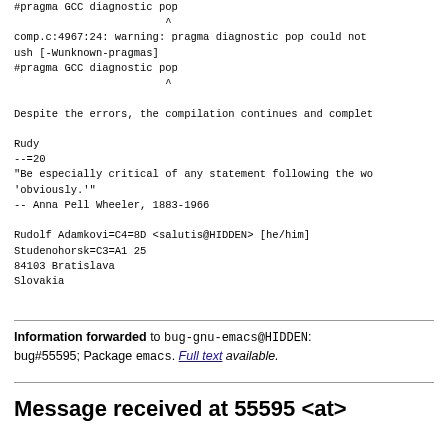#pragma GCC diagnostic pop
                        ^
comp.c:4967:24: warning: pragma diagnostic pop could not
ush [-Wunknown-pragmas]
#pragma GCC diagnostic pop
                        ^

Despite the errors, the compilation continues and complet

Rudy
--=20
"Be especially critical of any statement following the wo
'obviously.'"  
-- Anna Pell Wheeler, 1883-1966

Rudolf Adamkovi=C4=8D <salutis@HIDDEN> [he/him]
Studenohorsk=C3=A1 25
84103 Bratislava
Slovakia
Information forwarded to bug-gnu-emacs@HIDDEN:
bug#55595; Package emacs. Full text available.
Message received at 55595 <at>